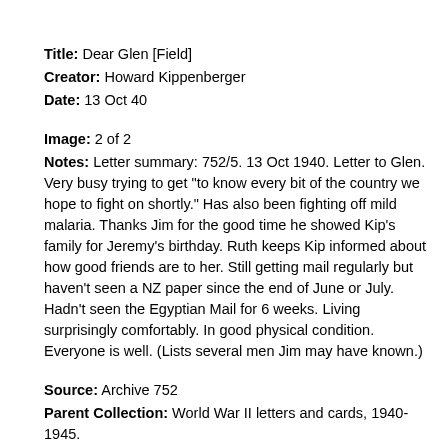Title: Dear Glen [Field]
Creator: Howard Kippenberger
Date: 13 Oct 40
Image: 2 of 2
Notes: Letter summary: 752/5. 13 Oct 1940. Letter to Glen. Very busy trying to get "to know every bit of the country we hope to fight on shortly." Has also been fighting off mild malaria. Thanks Jim for the good time he showed Kip's family for Jeremy's birthday. Ruth keeps Kip informed about how good friends are to her. Still getting mail regularly but haven't seen a NZ paper since the end of June or July. Hadn't seen the Egyptian Mail for 6 weeks. Living surprisingly comfortably. In good physical condition. Everyone is well. (Lists several men Jim may have known.)
Source: Archive 752
Parent Collection: World War II letters and cards, 1940-1945.
Parent Collection Description: Howard Karl Kippenberger (1897-1957) was born in Ladbrooks, south of Christchurch. In 1916 he served at the Somme, where he was wounded and discharged. He trained as a lawyer, practising in Rangiora. In